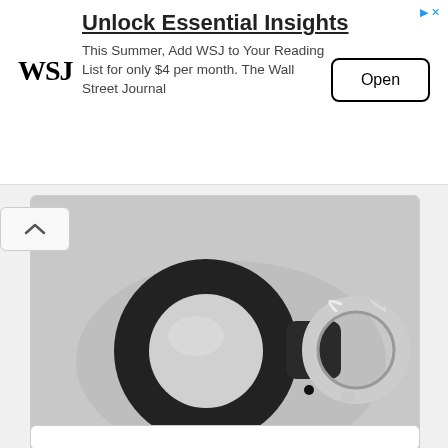[Figure (screenshot): WSJ advertisement banner: Unlock Essential Insights. This Summer, Add WSJ to Your Reading List for only $4 per month. The Wall Street Journal. With Open button.]
[Figure (photo): Photo of a black OEM Apple AirTag Key Ring with a round silicone holder and a silver metal key ring on a light gray background.]
OEM Apple AirTag Key Ring – Black